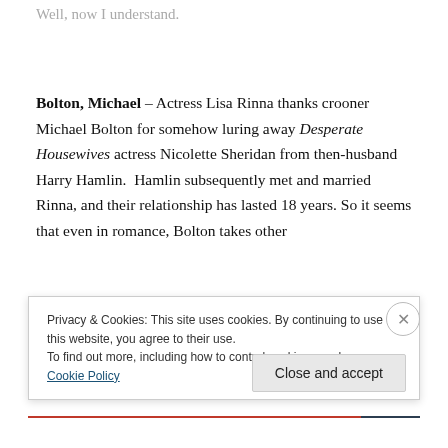Well, now I understand.
Bolton, Michael – Actress Lisa Rinna thanks crooner Michael Bolton for somehow luring away Desperate Housewives actress Nicolette Sheridan from then-husband Harry Hamlin.  Hamlin subsequently met and married Rinna, and their relationship has lasted 18 years. So it seems that even in romance, Bolton takes other
Privacy & Cookies: This site uses cookies. By continuing to use this website, you agree to their use.
To find out more, including how to control cookies, see here: Cookie Policy
Close and accept